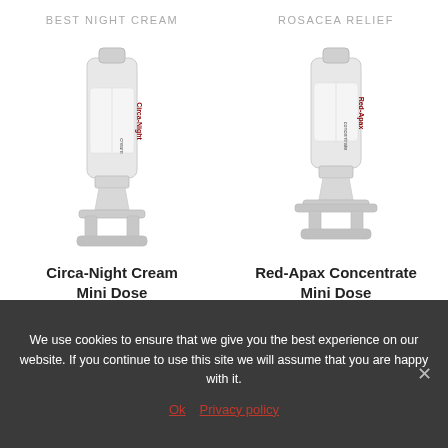BEST NIGHT CREAM
[Figure (photo): Circa-Night Cream Mini Dose product tube, white squeeze tube on stand]
Circa-Night Cream
Mini Dose
$5.83
ROSACEA RELIEF
[Figure (photo): Red-Apax Concentrate Mini Dose product tube, white squeeze tube on stand]
Red-Apax Concentrate
Mini Dose
$9.17
We use cookies to ensure that we give you the best experience on our website. If you continue to use this site we will assume that you are happy with it.
Ok  Privacy policy